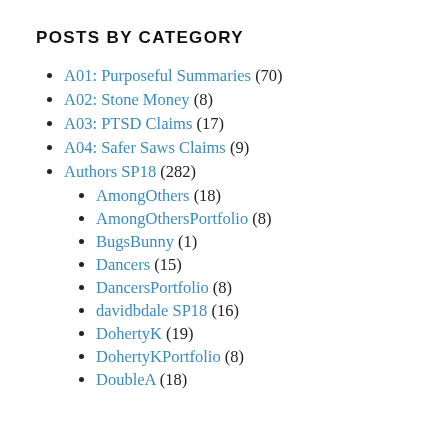POSTS BY CATEGORY
A01: Purposeful Summaries (70)
A02: Stone Money (8)
A03: PTSD Claims (17)
A04: Safer Saws Claims (9)
Authors SP18 (282)
AmongOthers (18)
AmongOthersPortfolio (8)
BugsBunny (1)
Dancers (15)
DancersPortfolio (8)
davidbdale SP18 (16)
DohertyK (19)
DohertyKPortfolio (8)
DoubleA (18)